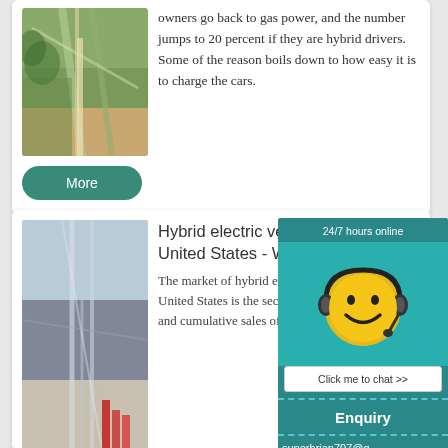[Figure (photo): Construction or industrial structure with steel framework, aerial view, surrounded by trees and earth tones]
owners go back to gas power, and the number jumps to 20 percent if they are hybrid drivers. Some of the reason boils down to how easy it is to charge the cars.
More
[Figure (photo): Industrial or construction structure with steel cables/pipes, rainy or overcast day, vertical lines prominent]
Hybrid electric vehicles in the United States - Wikipedia
The market of hybrid electric vehicles in the United States is the second largest in the world and has cumulative sales of 5...
[Figure (illustration): Chat widget: 24/7 hours online, smiley face with headset, Click me to chat >>, Enquiry, superbrian707@g...]